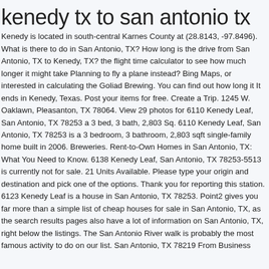kenedy tx to san antonio tx
Kenedy is located in south-central Karnes County at (28.8143, -97.8496). What is there to do in San Antonio, TX? How long is the drive from San Antonio, TX to Kenedy, TX? the flight time calculator to see how much longer it might take Planning to fly a plane instead? Bing Maps, or interested in calculating the Goliad Brewing. You can find out how long it It ends in Kenedy, Texas. Post your items for free. Create a Trip. 1245 W. Oaklawn, Pleasanton, TX 78064. View 29 photos for 6110 Kenedy Leaf, San Antonio, TX 78253 a 3 bed, 3 bath, 2,803 Sq. 6110 Kenedy Leaf, San Antonio, TX 78253 is a 3 bedroom, 3 bathroom, 2,803 sqft single-family home built in 2006. Breweries. Rent-to-Own Homes in San Antonio, TX: What You Need to Know. 6138 Kenedy Leaf, San Antonio, TX 78253-5513 is currently not for sale. 21 Units Available. Please type your origin and destination and pick one of the options. Thank you for reporting this station. 6123 Kenedy Leaf is a house in San Antonio, TX 78253. Point2 gives you far more than a simple list of cheap houses for sale in San Antonio, TX, as the search results pages also have a lot of information on San Antonio, TX, right below the listings. The San Antonio River walk is probably the most famous activity to do on our list. San Antonio, TX 78219 From Business